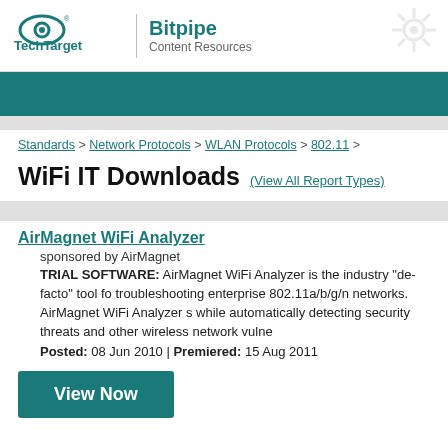TechTarget | Bitpipe Content Resources
Standards > Network Protocols > WLAN Protocols > 802.11 >
WiFi IT Downloads (View All Report Types)
AirMagnet WiFi Analyzer
sponsored by AirMagnet
TRIAL SOFTWARE: AirMagnet WiFi Analyzer is the industry "de-facto" tool for troubleshooting enterprise 802.11a/b/g/n networks. AirMagnet WiFi Analyzer s while automatically detecting security threats and other wireless network vulne
Posted: 08 Jun 2010 | Premiered: 15 Aug 2011
View Now